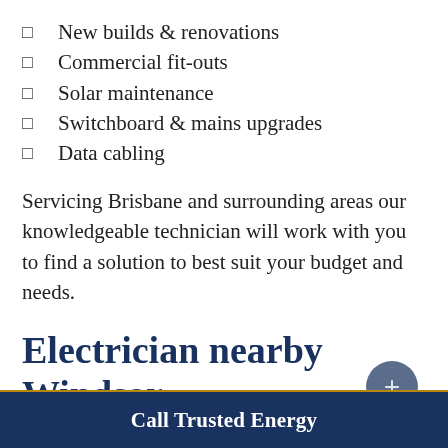New builds & renovations
Commercial fit-outs
Solar maintenance
Switchboard & mains upgrades
Data cabling
Servicing Brisbane and surrounding areas our knowledgeable technician will work with you to find a solution to best suit your budget and needs.
Electrician nearby Windsor
Call Trusted Energy